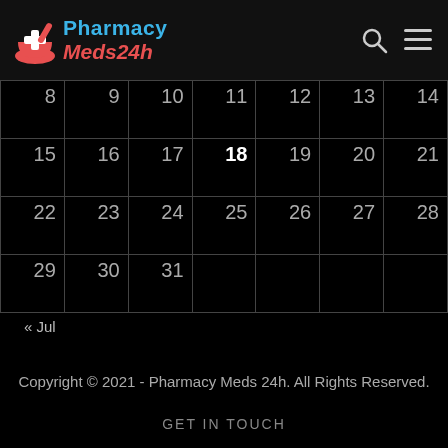Pharmacy Meds24h
|  |  |  |  |  |  |  |
| --- | --- | --- | --- | --- | --- | --- |
| 8 | 9 | 10 | 11 | 12 | 13 | 14 |
| 15 | 16 | 17 | 18 | 19 | 20 | 21 |
| 22 | 23 | 24 | 25 | 26 | 27 | 28 |
| 29 | 30 | 31 |  |  |  |  |
« Jul
Copyright © 2021 - Pharmacy Meds 24h. All Rights Reserved.
GET IN TOUCH